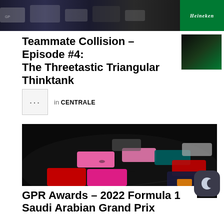[Figure (photo): Top banner photo of Formula 1 race cars on track with Heineken advertising boards visible in background]
Teammate Collision – Episode #4: The Threetastic Triangular Thinktank
[Figure (photo): Small thumbnail image of Formula 1 related content]
in CENTRALE
[Figure (photo): Large photo of multiple Formula 1 cars racing including pink Alpine cars, teal Aston Martin, red Ferrari and Red Bull cars on a night street circuit]
GPR Awards – 2022 Formula 1 Saudi Arabian Grand Prix